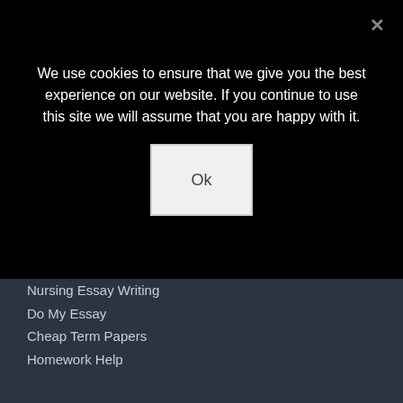We use cookies to ensure that we give you the best experience on our website. If you continue to use this site we will assume that you are happy with it.
Ok
Nursing Essay Writing
Do My Essay
Cheap Term Papers
Homework Help
Descriptive Essay
University Papers
Coursework
Do My Essay
Book Report
Essay Services
Essay Outline
University Essay
Dissertation/Thesis
College Essays